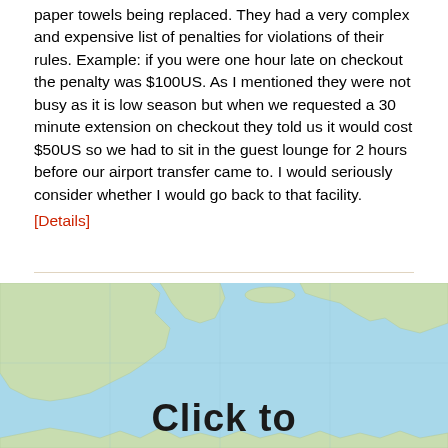paper towels being replaced. They had a very complex and expensive list of penalties for violations of their rules. Example: if you were one hour late on checkout the penalty was $100US. As I mentioned they were not busy as it is low season but when we requested a 30 minute extension on checkout they told us it would cost $50US so we had to sit in the guest lounge for 2 hours before our airport transfer came to. I would seriously consider whether I would go back to that facility.
[Details]
[Figure (map): World map showing continents in light green with water in light blue. Text 'Click to' visible at bottom.]